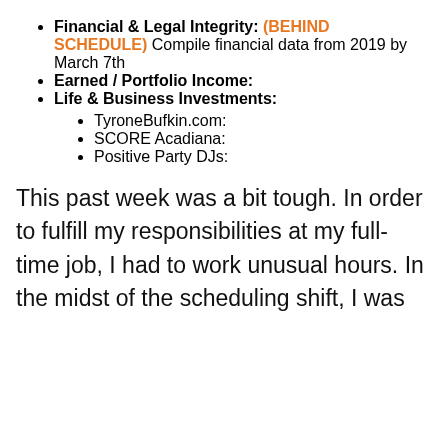Financial & Legal Integrity: (BEHIND SCHEDULE) Compile financial data from 2019 by March 7th
Earned / Portfolio Income:
Life & Business Investments:
TyroneBufkin.com:
SCORE Acadiana:
Positive Party DJs:
This past week was a bit tough. In order to fulfill my responsibilities at my full-time job, I had to work unusual hours. In the midst of the scheduling shift, I was